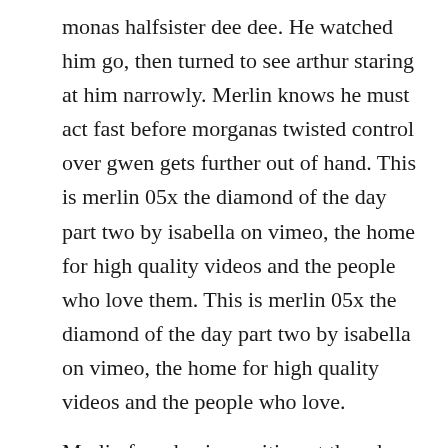monas halfsister dee dee. He watched him go, then turned to see arthur staring at him narrowly. Merlin knows he must act fast before morganas twisted control over gwen gets further out of hand. This is merlin 05x the diamond of the day part two by isabella on vimeo, the home for high quality videos and the people who love them. This is merlin 05x the diamond of the day part two by isabella on vimeo, the home for high quality videos and the people who love.
Merlin found gaius waiting at the edge of the